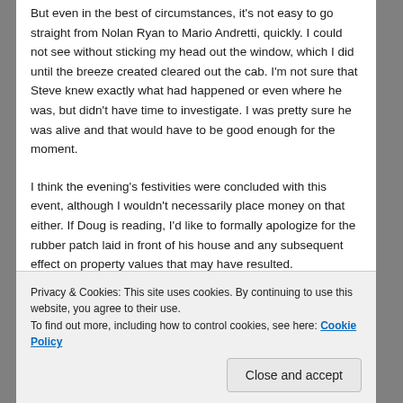But even in the best of circumstances, it's not easy to go straight from Nolan Ryan to Mario Andretti, quickly. I could not see without sticking my head out the window, which I did until the breeze created cleared out the cab. I'm not sure that Steve knew exactly what had happened or even where he was, but didn't have time to investigate. I was pretty sure he was alive and that would have to be good enough for the moment.
I think the evening's festivities were concluded with this event, although I wouldn't necessarily place money on that either. If Doug is reading, I'd like to formally apologize for the rubber patch laid in front of his house and any subsequent effect on property values that may have resulted.
Privacy & Cookies: This site uses cookies. By continuing to use this website, you agree to their use.
To find out more, including how to control cookies, see here: Cookie Policy